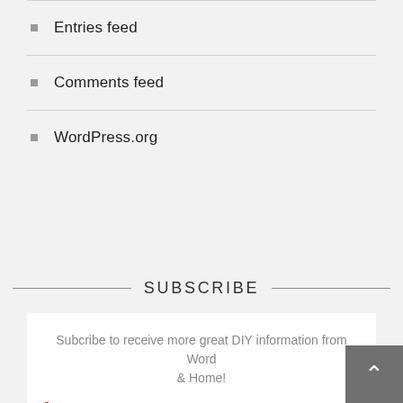Entries feed
Comments feed
WordPress.org
SUBSCRIBE
Subcribe to receive more great DIY information from Word & Home!
Name: